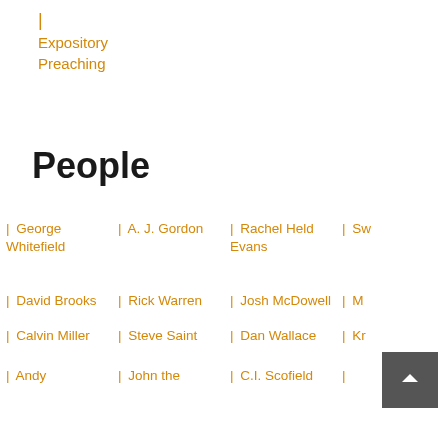| Expository Preaching
People
| George Whitefield
| A. J. Gordon
| Rachel Held Evans
| Sw...
| David Brooks
| Rick Warren
| Josh McDowell
| M...
| Calvin Miller
| Steve Saint
| Dan Wallace
| Kr...
| Andy
| John the
| C.I. Scofield
|